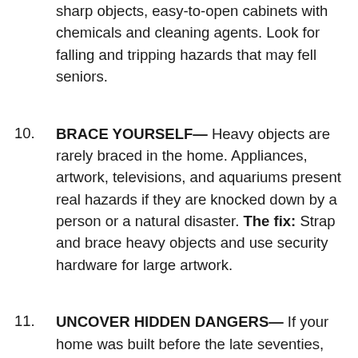sharp objects, easy-to-open cabinets with chemicals and cleaning agents. Look for falling and tripping hazards that may fell seniors.
BRACE YOURSELF— Heavy objects are rarely braced in the home. Appliances, artwork, televisions, and aquariums present real hazards if they are knocked down by a person or a natural disaster. The fix: Strap and brace heavy objects and use security hardware for large artwork.
UNCOVER HIDDEN DANGERS— If your home was built before the late seventies, there's likely lead in the paint under the top coats on your walls and windows,